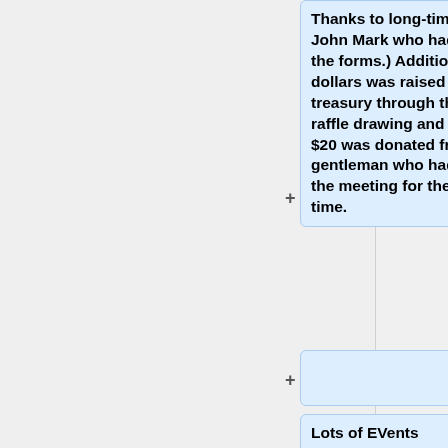Thanks to long-time member John Mark who had brought the forms.) Additionally, $53 dollars was raised for the treasury through the 50/50 raffle drawing and another $20 was donated from a kind gentleman who had come to the meeting for the first time.
Lots of EVents